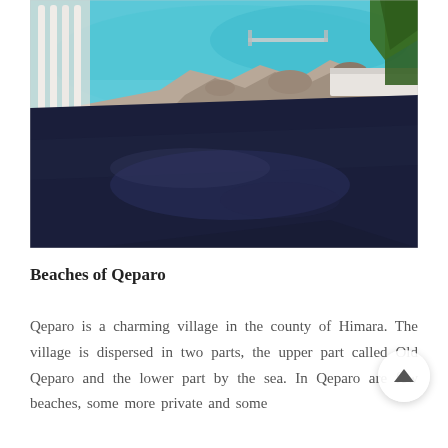[Figure (photo): Coastal scene showing a dark navy/black paved road or surface in the foreground sloping toward the sea, with turquoise water, rocky outcrops, a pier, white columns/railing and pine tree visible in the upper portion of the image.]
Beaches of Qeparo
Qeparo is a charming village in the county of Himara. The village is dispersed in two parts, the upper part called Old Qeparo and the lower part by the sea. In Qeparo are few beaches, some more private and some